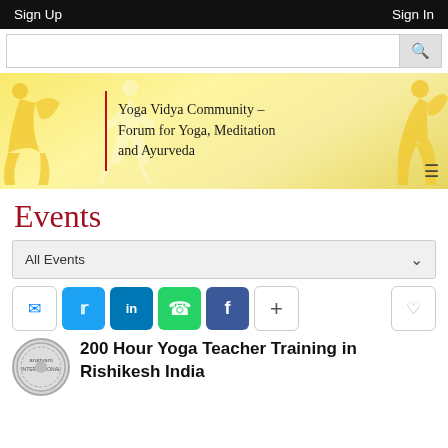Sign Up   Sign In
[Figure (screenshot): Search input bar with magnifying glass icon]
[Figure (illustration): Yoga Vidya Community banner with yellow silhouette yoga figures and red divider line]
Events
All Events
[Figure (infographic): Social sharing buttons row: Messenger, Twitter, LinkedIn, WhatsApp, Facebook, Plus, and heart/favorite button]
[Figure (logo): Arogyam circular logo badge]
200 Hour Yoga Teacher Training in Rishikesh India